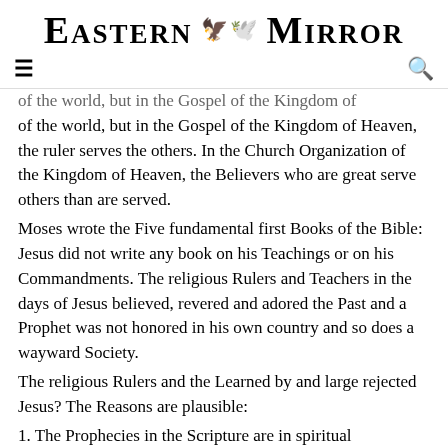Eastern Mirror
of the world, but in the Gospel of the Kingdom of Heaven, the ruler serves the others. In the Church Organization of the Kingdom of Heaven, the Believers who are great serve others than are served.
Moses wrote the Five fundamental first Books of the Bible: Jesus did not write any book on his Teachings or on his Commandments. The religious Rulers and Teachers in the days of Jesus believed, revered and adored the Past and a Prophet was not honored in his own country and so does a wayward Society.
The religious Rulers and the Learned by and large rejected Jesus? The Reasons are plausible:
1. The Prophecies in the Scripture are in spiritual